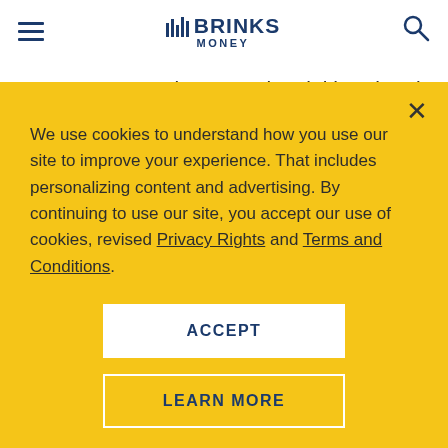BRINKS MONEY
As you start moving towards adulthood and heading
We use cookies to understand how you use our site to improve your experience. That includes personalizing content and advertising. By continuing to use our site, you accept our use of cookies, revised Privacy Rights and Terms and Conditions.
ACCEPT
LEARN MORE